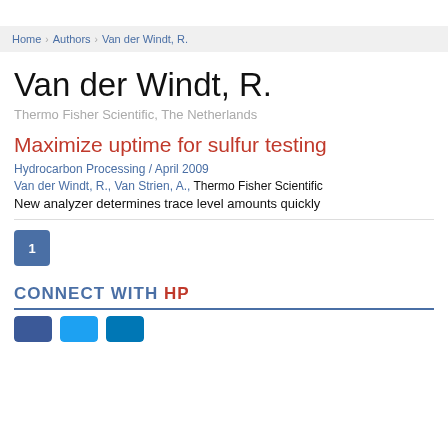Home > Authors > Van der Windt, R.
Van der Windt, R.
Thermo Fisher Scientific, The Netherlands
Maximize uptime for sulfur testing
Hydrocarbon Processing / April 2009
Van der Windt, R., Van Strien, A., Thermo Fisher Scientific
New analyzer determines trace level amounts quickly
1
CONNECT WITH HP